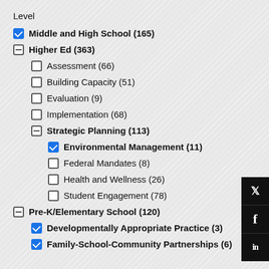Level
Middle and High School (165)
Higher Ed (363)
Assessment (66)
Building Capacity (51)
Evaluation (9)
Implementation (68)
Strategic Planning (113)
Environmental Management (11)
Federal Mandates (8)
Health and Wellness (26)
Student Engagement (78)
Pre-K/Elementary School (120)
Developmentally Appropriate Practice (3)
Family-School-Community Partnerships (6)